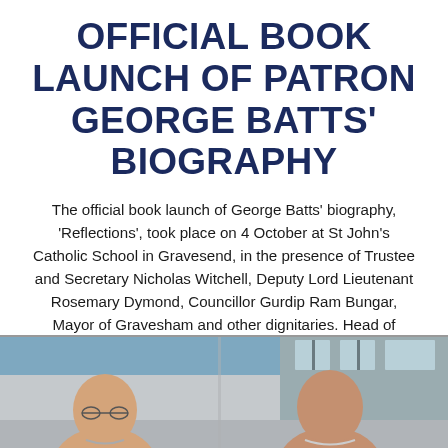OFFICIAL BOOK LAUNCH OF PATRON GEORGE BATTS' BIOGRAPHY
The official book launch of George Batts' biography, 'Reflections', took place on 4 October at St John's Catholic School in Gravesend, in the presence of Trustee and Secretary Nicholas Witchell, Deputy Lord Lieutenant Rosemary Dymond, Councillor Gurdip Ram Bungar, Mayor of Gravesham and other dignitaries. Head of History, Colm Murphy, presided over events which began with a presentation on the school's involvement with the memorial.
[Figure (photo): Photograph showing people at the book launch event, partially visible at the bottom of the page — two individuals visible from roughly shoulders up against a building background.]